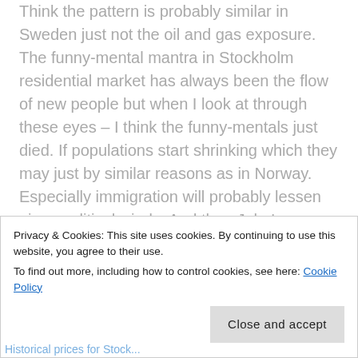Think the pattern is probably similar in Sweden just not the oil and gas exposure. The funny-mental mantra in Stockholm residential market has always been the flow of new people but when I look at through these eyes – I think the funny-mentals just died. If populations start shrinking which they may just by similar reasons as in Norway. Especially immigration will probably lessen given political winds. And then John's beautiful demographic ideas could hold.
Privacy & Cookies: This site uses cookies. By continuing to use this website, you agree to their use. To find out more, including how to control cookies, see here: Cookie Policy
Close and accept
Historical prices for Stock...